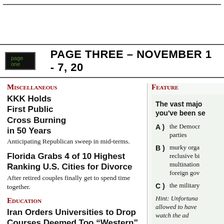PAGE THREE – NOVEMBER 1 - 7, 20...
Miscellaneous
KKK Holds First Public Cross Burning in 50 Years
Anticipating Republican sweep in mid-terms.
Florida Grabs 4 of 10 Highest Ranking U.S. Cities for Divorce
After retired couples finally get to spend time together.
Education
Iran Orders Universities to Drop Courses Deemed Too “Western”
Feature
The vast majo... you've been se...
A ) the Democr... parties
B ) murky orga... reclusive bi... multination... foreign gov...
C ) the military...
Hint: Unfortuna... allowed to have... watch the ad...